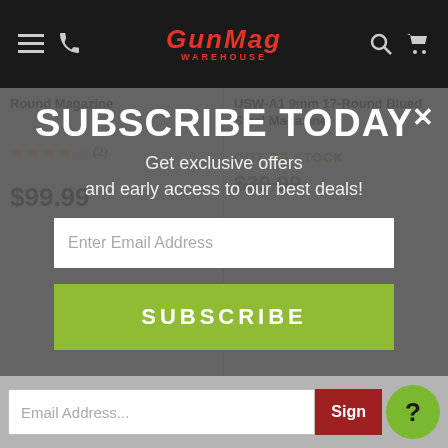GunMag Warehouse
Round Magazine
USW-A1 9mm 17-Round Blued Steel Magazine
★★★★☆ (2)
OUT OF STOCK
$99.99
$39.99
SUBSCRIBE TODAY
Get exclusive offers and early access to our best deals!
Enter Email Address
SUBSCRIBE
Subscribe Today
Get exclusive offers and early access to our best deals!
Email Address...
Sign